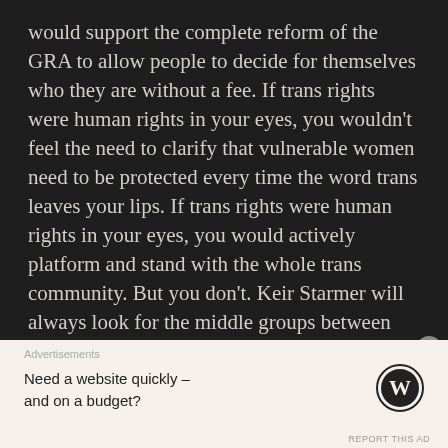would support the complete reform of the GRA to allow people to decide for themselves who they are without a fee. If trans rights were human rights in your eyes, you wouldn't feel the need to clarify that vulnerable women need to be protected every time the word trans leaves your lips. If trans rights were human rights in your eyes, you would actively platform and stand with the whole trans community. But you don't. Keir Starmer will always look for the middle groups between bigotry and inclusion. He has shown this time and time and time again.

The Labour Party lost my support when they stopped
[Figure (other): Advertisement banner with WordPress logo. Text reads: 'Need a website quickly – and on a budget?' with WordPress circular logo on the right.]